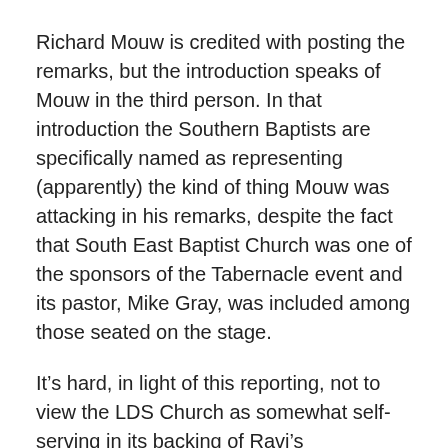Richard Mouw is credited with posting the remarks, but the introduction speaks of Mouw in the third person. In that introduction the Southern Baptists are specifically named as representing (apparently) the kind of thing Mouw was attacking in his remarks, despite the fact that South East Baptist Church was one of the sponsors of the Tabernacle event and its pastor, Mike Gray, was included among those seated on the stage.
It’s hard, in light of this reporting, not to view the LDS Church as somewhat self-serving in its backing of Ravi’s appearance. Acting as if it wished to engender good relations between Mormons and Evangelicals before the event (which was co-sponsored by the Richard L. Evans Chair of Religious Studies at BYU), the LDS Church seemed to quickly drop any interest in Ravi once it was